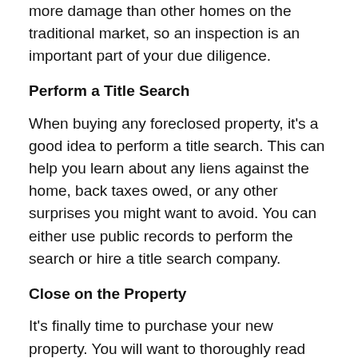more damage than other homes on the traditional market, so an inspection is an important part of your due diligence.
Perform a Title Search
When buying any foreclosed property, it's a good idea to perform a title search. This can help you learn about any liens against the home, back taxes owed, or any other surprises you might want to avoid. You can either use public records to perform the search or hire a title search company.
Close on the Property
It's finally time to purchase your new property. You will want to thoroughly read the inspection and appraisal results in order to determine whether or not the property is a good investment for you to add to your portfolio.